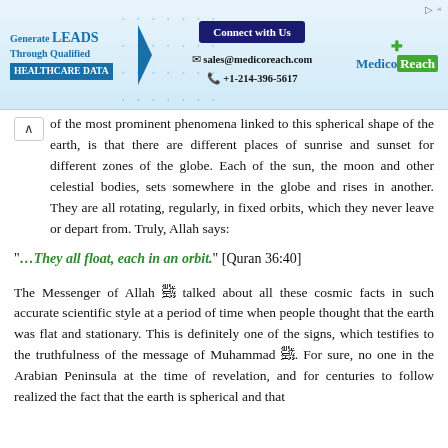[Figure (infographic): MedicoReach advertisement banner with 'Generate LEADS Through Qualified HEALTHCARE DATA', Connect with Us button, sales@medicoreach.com, +1-214-396-5617 contact info, and MedicoReach logo]
of the most prominent phenomena linked to this spherical shape of the earth, is that there are different places of sunrise and sunset for different zones of the globe. Each of the sun, the moon and other celestial bodies, sets somewhere in the globe and rises in another. They are all rotating, regularly, in fixed orbits, which they never leave or depart from. Truly, Allah says:
"…They all float, each in an orbit." [Quran 36:40]
The Messenger of Allah ﷺ talked about all these cosmic facts in such accurate scientific style at a period of time when people thought that the earth was flat and stationary. This is definitely one of the signs, which testifies to the truthfulness of the message of Muhammad ﷺ. For sure, no one in the Arabian Peninsula at the time of revelation, and for centuries to follow realized the fact that the earth is spherical and that